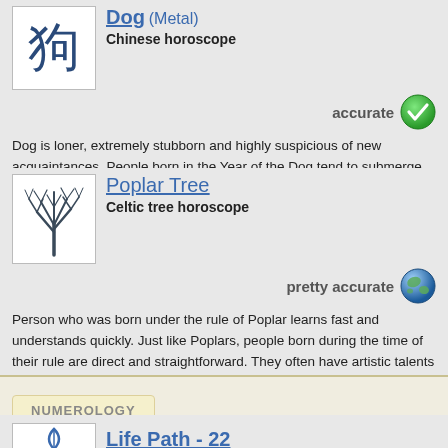[Figure (illustration): Chinese character for Dog in dark blue on white background]
Dog (Metal) - Chinese horoscope
[Figure (illustration): Green circle with white checkmark indicating 'accurate']
Dog is loner, extremely stubborn and highly suspicious of new acquaintances. People born in the Year of the Dog tend to submerge themselves in completely unimportant matters and details. They are a bit crazy, but their evolved sensibilities and critical spirit help to protect them from the worst.
[Figure (illustration): Drawing of a bare poplar tree in dark blue/grey on white background]
Poplar Tree - Celtic tree horoscope
[Figure (illustration): Earth/globe icon indicating 'pretty accurate']
Person who was born under the rule of Poplar learns fast and understands quickly. Just like Poplars, people born during the time of their rule are direct and straightforward. They often have artistic talents and a sense for beauty.
NUMEROLOGY
Life Path - 22
[Figure (illustration): Numerology symbol/icon on white background]